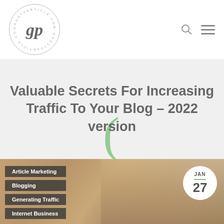[Figure (logo): GhostParticle.com blog logo — circular border with 'gp' monogram in italic bold serif inside, website name text around the circle border]
Valuable Secrets For Increasing Traffic To Your Blog – 2022 version
[Figure (photo): Blog article header image showing a person working at a desk; overlaid with dark semi-transparent category tags: Article Marketing, Blogging, Generating Traffic, Internet Business; a circular white date badge in the top-right shows JAN 27]
Article Marketing
Blogging
Generating Traffic
Internet Business